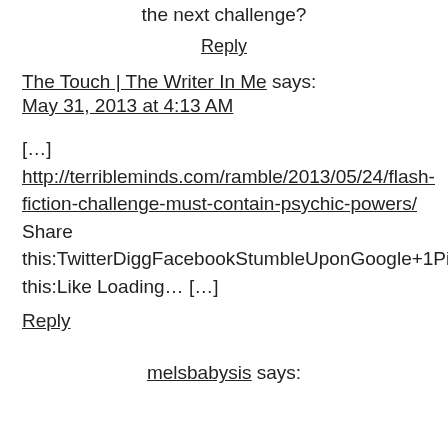the next challenge?
Reply
The Touch | The Writer In Me says:
May 31, 2013 at 4:13 AM
[…] http://terribleminds.com/ramble/2013/05/24/flash-fiction-challenge-must-contain-psychic-powers/ Share this:TwitterDiggFacebookStumbleUponGoogle+1PinterestLinkedInEmailRedditLike this:Like Loading… […]
Reply
melsbabysis says: